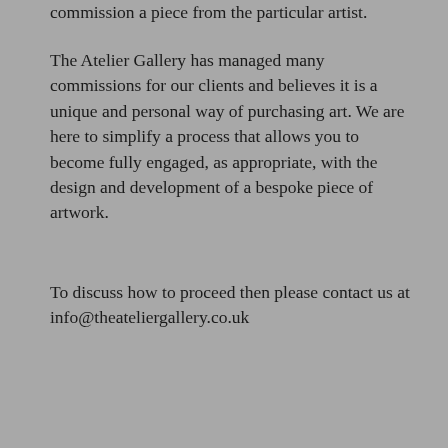commission a piece from the particular artist.
The Atelier Gallery has managed many commissions for our clients and believes it is a unique and personal way of purchasing art. We are here to simplify a process that allows you to become fully engaged, as appropriate, with the design and development of a bespoke piece of artwork.
To discuss how to proceed then please contact us at info@theateliergallery.co.uk